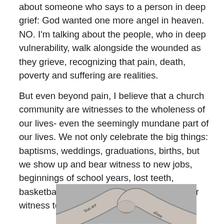about someone who says to a person in deep grief: God wanted one more angel in heaven. NO. I'm talking about the people, who in deep vulnerability, walk alongside the wounded as they grieve, recognizing that pain, death, poverty and suffering are realities.
But even beyond pain, I believe that a church community are witnesses to the wholeness of our lives- even the seemingly mundane part of our lives. We not only celebrate the big things: baptisms, weddings, graduations, births, but we show up and bear witness to new jobs, beginnings of school years, lost teeth, basketball games and new homes. We bear witness to one another's lives.
[Figure (photo): Black and white photo of two forearms crossed, with handwritten text tattoos reading 'you are' on one arm and 'alone' on the other, forming the message 'you are not alone']